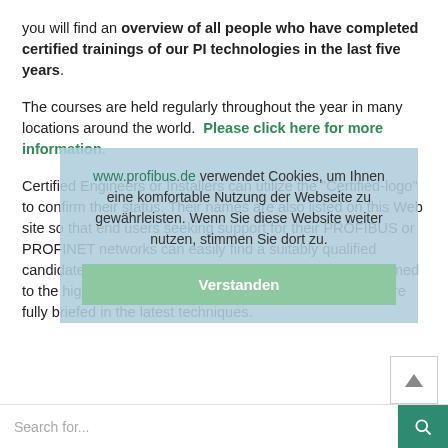you will find an overview of all people who have completed certified trainings of our PI technologies in the last five years.
The courses are held regularly throughout the year in many locations around the world. Please click here for more information.
www.profibus.de verwendet Cookies, um Ihnen eine komfortable Nutzung der Webseite zu gewährleisten. Wenn Sie diese Website weiter nutzen, stimmen Sie dort zu.
Certified Engineers or Installers can utilize the "Certified-logo" to confirm their status. Their names are also listed on this Web site so that end users seeking support for their PROFIBUS or PROFINET networks can easily find a suitably qualified candidate. Using certified staff ensures that work is performed to the highest standards and by qualified personnel who are fully briefed in the latest techniques.
Verstanden
Search for...